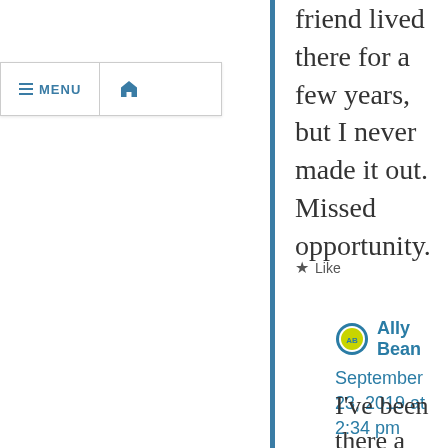MENU (home icon)
friend lived there for a few years, but I never made it out. Missed opportunity.
★ Like
Ally Bean
September 23, 2019 at 2:34 pm
I've been there a few times. Nice it…